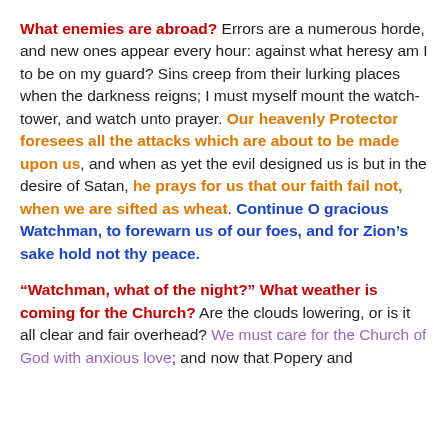What enemies are abroad? Errors are a numerous horde, and new ones appear every hour: against what heresy am I to be on my guard? Sins creep from their lurking places when the darkness reigns; I must myself mount the watch-tower, and watch unto prayer. Our heavenly Protector foresees all the attacks which are about to be made upon us, and when as yet the evil designed us is but in the desire of Satan, he prays for us that our faith fail not, when we are sifted as wheat. Continue O gracious Watchman, to forewarn us of our foes, and for Zion's sake hold not thy peace.
“Watchman, what of the night?” What weather is coming for the Church? Are the clouds lowering, or is it all clear and fair overhead? We must care for the Church of God with anxious love; and now that Popery and